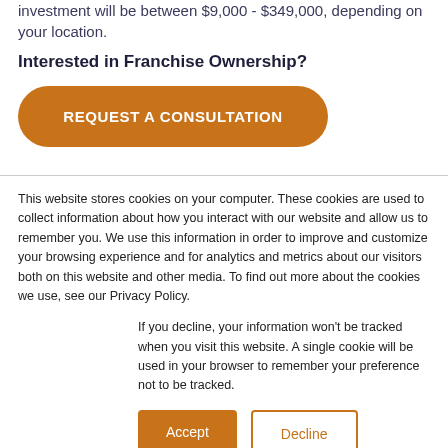investment will be between $9,000 - $349,000, depending on your location.
Interested in Franchise Ownership?
REQUEST A CONSULTATION
This website stores cookies on your computer. These cookies are used to collect information about how you interact with our website and allow us to remember you. We use this information in order to improve and customize your browsing experience and for analytics and metrics about our visitors both on this website and other media. To find out more about the cookies we use, see our Privacy Policy.
If you decline, your information won’t be tracked when you visit this website. A single cookie will be used in your browser to remember your preference not to be tracked.
Accept
Decline